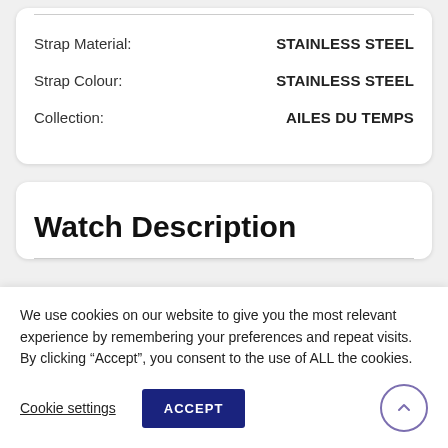| Property | Value |
| --- | --- |
| Strap Material: | STAINLESS STEEL |
| Strap Colour: | STAINLESS STEEL |
| Collection: | AILES DU TEMPS |
Watch Description
We use cookies on our website to give you the most relevant experience by remembering your preferences and repeat visits. By clicking “Accept”, you consent to the use of ALL the cookies.
Cookie settings
ACCEPT